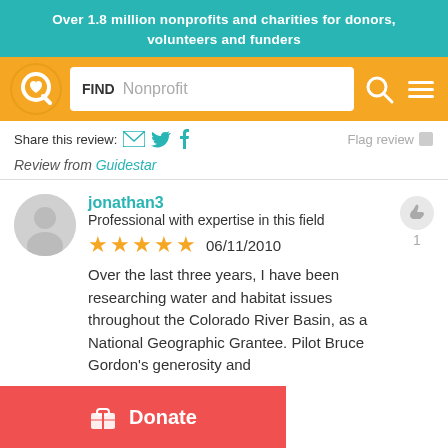Over 1.8 million nonprofits and charities for donors, volunteers and funders
[Figure (screenshot): Charity Navigator search bar with logo, FIND Nonprofit input, search and menu icons on orange background]
Share this review:
Flag review
Review from Guidestar
jonathan3
Professional with expertise in this field
★★★★★ 06/11/2010
Over the last three years, I have been researching water and habitat issues throughout the Colorado River Basin, as a National Geographic Grantee. Pilot Bruce Gordon's generosity and
[Figure (other): Donate button with gift icon, red background]